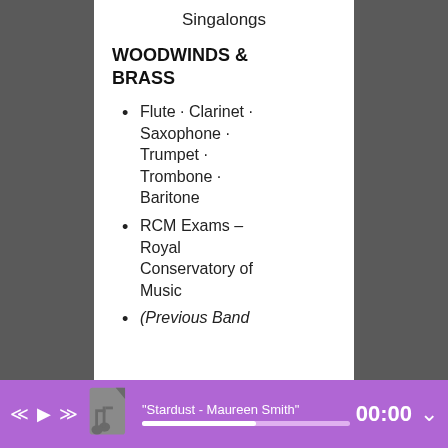Singalongs
WOODWINDS & BRASS
Flute · Clarinet · Saxophone · Trumpet · Trombone · Baritone
RCM Exams – Royal Conservatory of Music
(Previous Band
"Stardust - Maureen Smith" 00:00